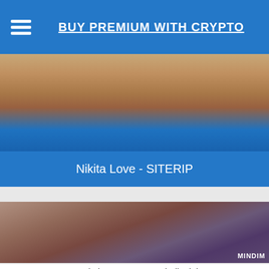BUY PREMIUM WITH CRYPTO
[Figure (photo): Partial view of a person's midsection, cropped adult content image with blue banner overlay]
Nikita Love - SITERIP
[Figure (photo): Close-up adult content image on purple background with MINDIM watermark]
Pomstar Platinum 21 06 26 Mindi Mink Love